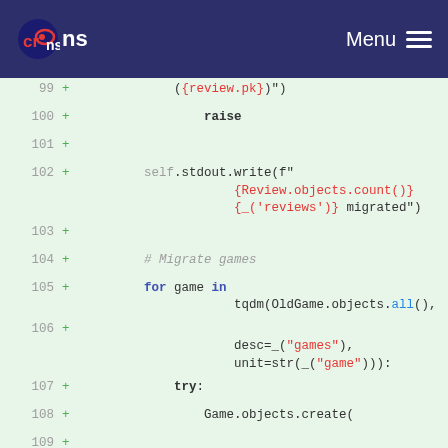Crons Menu
[Figure (screenshot): Code diff view showing Python migration script lines 99-110 with added lines marked with + signs. Code includes raise, self.stdout.write, for game in tqdm loop, try block, and Game.objects.create call.]